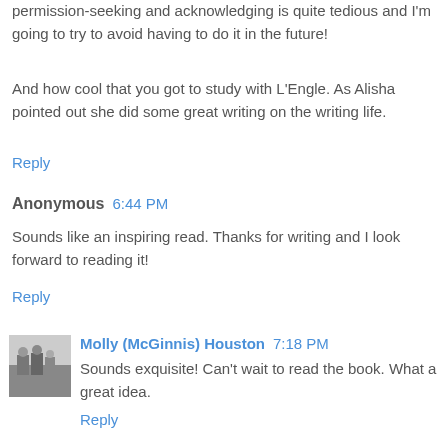permission-seeking and acknowledging is quite tedious and I'm going to try to avoid having to do it in the future!
And how cool that you got to study with L'Engle. As Alisha pointed out she did some great writing on the writing life.
Reply
Anonymous  6:44 PM
Sounds like an inspiring read. Thanks for writing and I look forward to reading it!
Reply
Molly (McGinnis) Houston  7:18 PM
Sounds exquisite! Can't wait to read the book. What a great idea.
Reply